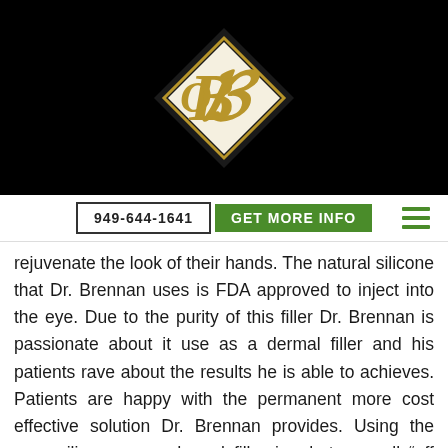[Figure (logo): Diamond-shaped logo with gold letter B on black background]
949-644-1641   GET MORE INFO
rejuvenate the look of their hands. The natural silicone that Dr. Brennan uses is FDA approved to inject into the eye. Due to the purity of this filler Dr. Brennan is passionate about it use as a dermal filler and his patients rave about the results he is able to achieves. Patients are happy with the permanent more cost effective solution Dr. Brennan provides. Using the pure silicone as a dermal filler is what we call “off label” just as using Botox in any other area other than in between the eyes.